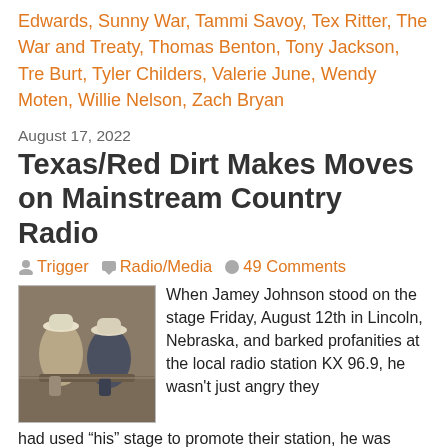Edwards, Sunny War, Tammi Savoy, Tex Ritter, The War and Treaty, Thomas Benton, Tony Jackson, Tre Burt, Tyler Childers, Valerie June, Wendy Moten, Willie Nelson, Zach Bryan
August 17, 2022
Texas/Red Dirt Makes Moves on Mainstream Country Radio
Trigger   Radio/Media   49 Comments
[Figure (photo): A photo showing two people with cowboy hats, sitting back to back, in a warm indoor setting.]
When Jamey Johnson stood on the stage Friday, August 12th in Lincoln, Nebraska, and barked profanities at the local radio station KX 96.9, he wasn't just angry they had used "his" stage to promote their station, he was venting the pent up frustration many